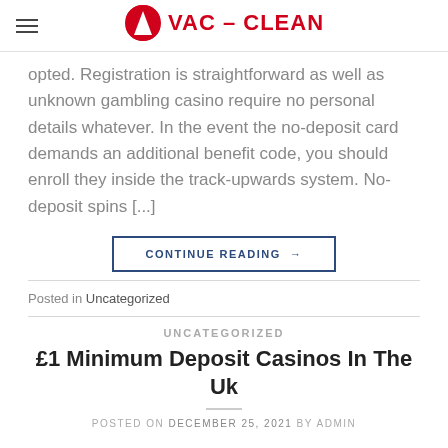VAC-CLEAN
opted. Registration is straightforward as well as unknown gambling casino require no personal details whatever. In the event the no-deposit card demands an additional benefit code, you should enroll they inside the track-upwards system. No-deposit spins [...]
CONTINUE READING →
Posted in Uncategorized
UNCATEGORIZED
£1 Minimum Deposit Casinos In The Uk
POSTED ON DECEMBER 25, 2021 BY ADMIN